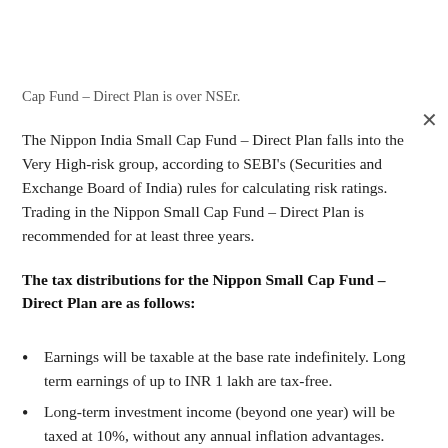Cap Fund – Direct Plan is over NSEr.
The Nippon India Small Cap Fund – Direct Plan falls into the Very High-risk group, according to SEBI's (Securities and Exchange Board of India) rules for calculating risk ratings. Trading in the Nippon Small Cap Fund – Direct Plan is recommended for at least three years.
The tax distributions for the Nippon Small Cap Fund – Direct Plan are as follows:
Earnings will be taxable at the base rate indefinitely. Long term earnings of up to INR 1 lakh are tax-free.
Long-term investment income (beyond one year) will be taxed at 10%, without any annual inflation advantages.